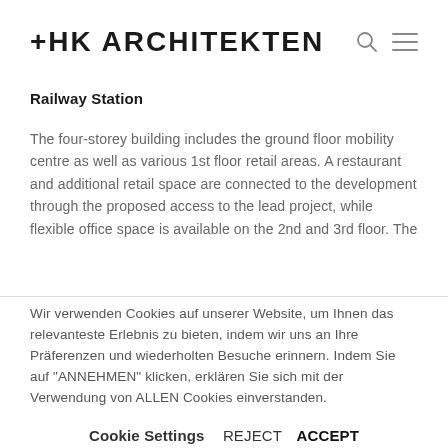+HK ARCHITEKTEN
Railway Station
The four-storey building includes the ground floor mobility centre as well as various 1st floor retail areas. A restaurant and additional retail space are connected to the development through the proposed access to the lead project, while flexible office space is available on the 2nd and 3rd floor. The
Wir verwenden Cookies auf unserer Website, um Ihnen das relevanteste Erlebnis zu bieten, indem wir uns an Ihre Präferenzen und wiederholten Besuche erinnern. Indem Sie auf "ANNEHMEN" klicken, erklären Sie sich mit der Verwendung von ALLEN Cookies einverstanden.
Cookie Settings  REJECT  ACCEPT